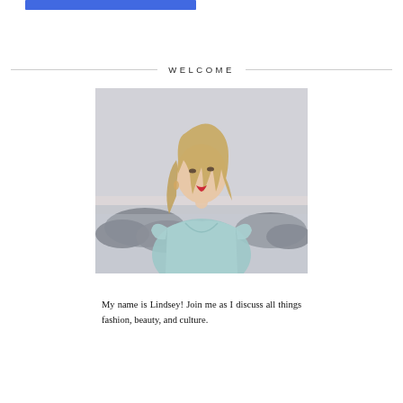[Figure (other): Blue rectangular bar at top of page, serving as a decorative header element]
WELCOME
[Figure (photo): Photo of a young woman with blonde hair wearing a light blue wrap dress, standing outdoors near rocks and water, looking off to the side. Name is Lindsey.]
My name is Lindsey! Join me as I discuss all things fashion, beauty, and culture.